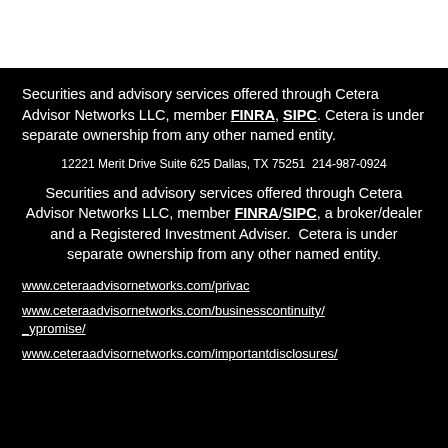Securities and advisory services offered through Cetera Advisor Networks LLC, member FINRA, SIPC. Cetera is under separate ownership from any other named entity.
12221 Merit Drive Suite 625 Dallas, TX 75251  214-987-0924
Securities and advisory services offered through Cetera Advisor Networks LLC, member FINRA/SIPC, a broker/dealer and a Registered Investment Adviser.  Cetera is under separate ownership from any other named entity.
www.ceteraadvisornetworks.com/privac
www.ceteraadvisornetworks.com/businesscontinuity/_ypromise/
www.ceteraadvisornetworks.com/importantdisclosures/